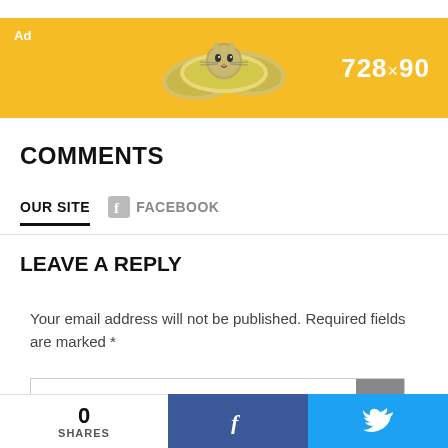[Figure (other): Yellow advertisement banner showing '728×90' ad size with a cat face on money bills graphic. 'Ad' label in top-left corner.]
COMMENTS
OUR SITE   FACEBOOK
LEAVE A REPLY
Your email address will not be published. Required fields are marked *
Comment*
0 SHARES